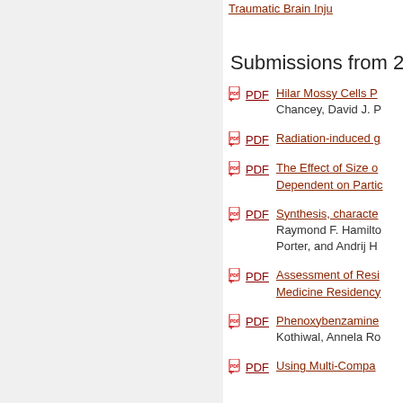Traumatic Brain Inju...
Submissions from 201...
PDF - Hilar Mossy Cells P... - Chancey, David J. P...
PDF - Radiation-induced g...
PDF - The Effect of Size o... Dependent on Partic...
PDF - Synthesis, characte... - Raymond F. Hamilto... Porter, and Andrij H...
PDF - Assessment of Resi... Medicine Residency...
PDF - Phenoxybenzamine... - Kothiwal, Annela Ro...
PDF - Using Multi-Compa...